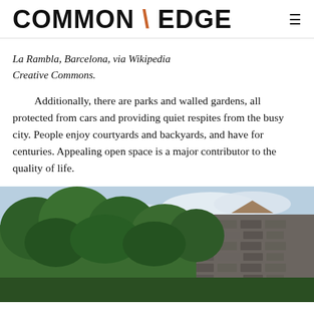COMMON \ EDGE
La Rambla, Barcelona, via Wikipedia Creative Commons.
Additionally, there are parks and walled gardens, all protected from cars and providing quiet respites from the busy city. People enjoy courtyards and backyards, and have for centuries. Appealing open space is a major contributor to the quality of life.
[Figure (photo): Walled garden or park with lush green trees against a stone wall, partly cloudy sky visible above, partial view of a building rooftop in background.]